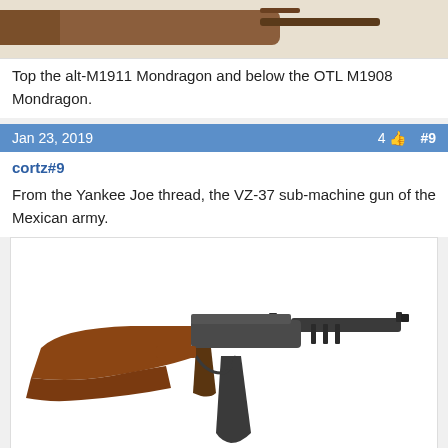[Figure (photo): Partial view of a rifle (alt-M1911 Mondragon or OTL M1908 Mondragon) — only the stock/rear portion visible at top of page.]
Top the alt-M1911 Mondragon and below the OTL M1908 Mondragon.
Jan 23, 2019   4   #9
cortz#9
From the Yankee Joe thread, the VZ-37 sub-machine gun of the Mexican army.
[Figure (photo): Photo of a VZ-37 sub-machine gun with wooden stock and curved magazine, shown in profile on white background.]
Jan 24, 2019   11   #10
pattontank12